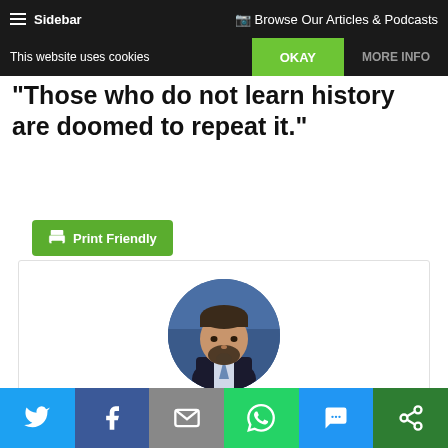≡ Sidebar   Browse Our Articles & Podcasts
This website uses cookies
Those who do not learn history are doomed to repeat it.
[Figure (other): Print Friendly button (green)]
[Figure (photo): Circular avatar photo of Steve Skojec]
Steve Skojec
Social sharing bar: Twitter, Facebook, Email, WhatsApp, SMS, Share